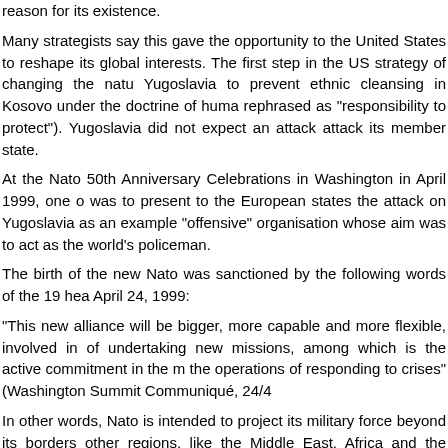reason for its existence.
Many strategists say this gave the opportunity to the United States to reshape its global interests. The first step in the US strategy of changing the natu Yugoslavia to prevent ethnic cleansing in Kosovo under the doctrine of huma rephrased as "responsibility to protect"). Yugoslavia did not expect an attack attack its member state.
At the Nato 50th Anniversary Celebrations in Washington in April 1999, one o was to present to the European states the attack on Yugoslavia as an example "offensive" organisation whose aim was to act as the world's policeman.
The birth of the new Nato was sanctioned by the following words of the 19 hea April 24, 1999:
"This new alliance will be bigger, more capable and more flexible, involved in of undertaking new missions, among which is the active commitment in the m the operations of responding to crises" (Washington Summit Communiqué, 24/4
In other words, Nato is intended to project its military force beyond its borders other regions, like the Middle East, Africa and the Indian Ocean. Nato giv anywhere in the world whenever it feels its interests are threatened, without con
Then came 9/11 and Afghanistan was attacked by the US to topple the Taliba Qaeda leaders. Nato troops led by the US are involved in Afghanistan to st threat of Taliban.
The war has been going on in Afghanistan for nine years. Nato soldiers are bei during the last eight months of 2010, 490 Nato soldiers were killed including 3